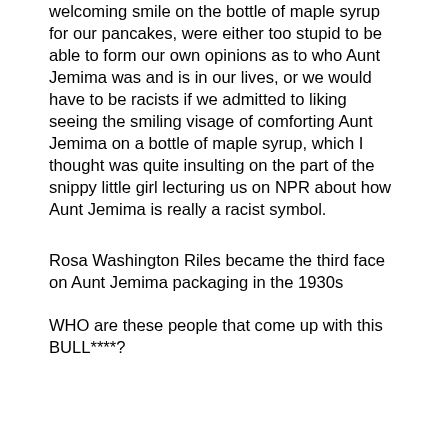welcoming smile on the bottle of maple syrup for our pancakes, were either too stupid to be able to form our own opinions as to who Aunt Jemima was and is in our lives, or we would have to be racists if we admitted to liking seeing the smiling visage of comforting Aunt Jemima on a bottle of maple syrup, which I thought was quite insulting on the part of the snippy little girl lecturing us on NPR about how Aunt Jemima is really a racist symbol.
Rosa Washington Riles became the third face on Aunt Jemima packaging in the 1930s
WHO are these people that come up with this BULL****?